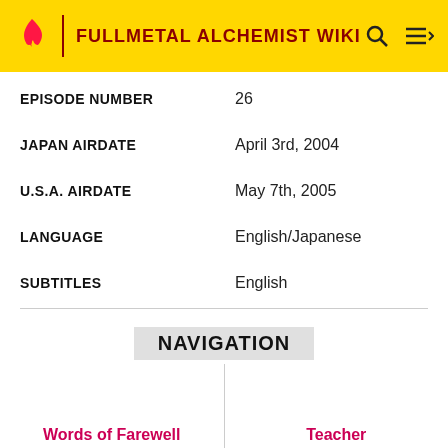FULLMETAL ALCHEMIST WIKI
| Field | Value |
| --- | --- |
| EPISODE NUMBER | 26 |
| JAPAN AIRDATE | April 3rd, 2004 |
| U.S.A. AIRDATE | May 7th, 2005 |
| LANGUAGE | English/Japanese |
| SUBTITLES | English |
NAVIGATION
Words of Farewell
Teacher